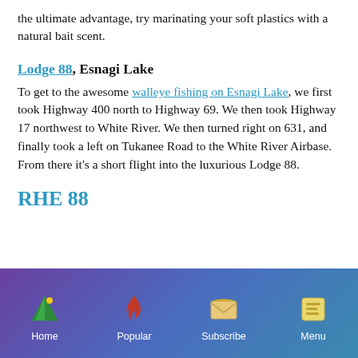the ultimate advantage, try marinating your soft plastics with a natural bait scent.
Lodge 88, Esnagi Lake
To get to the awesome walleye fishing on Esnagi Lake, we first took Highway 400 north to Highway 69. We then took Highway 17 northwest to White River. We then turned right on 631, and finally took a left on Tukanee Road to the White River Airbase. From there it's a short flight into the luxurious Lodge 88.
Home | Popular | Subscribe | Menu